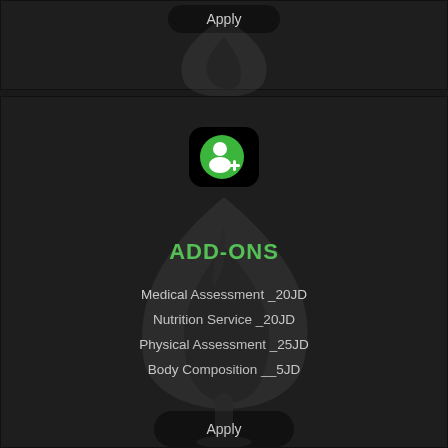[Figure (screenshot): Top section showing an Apply button on dark background with faint flame watermark]
[Figure (illustration): App icon: green rounded square with white person/add user silhouette icon]
ADD-ONS
Medical Assessment _20JD
Nutrition Service _20JD
Physical Assessment _25JD
Body Composition __5JD
[Figure (other): Apply button on dark background with faint flame watermark behind]